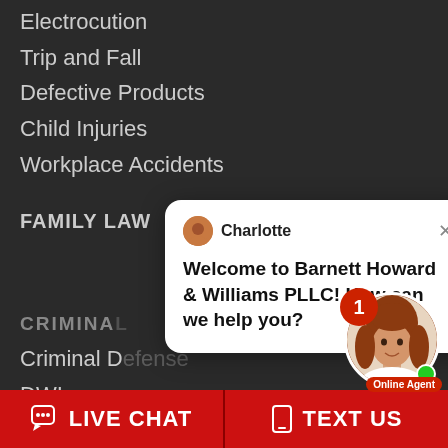Electrocution
Trip and Fall
Defective Products
Child Injuries
Workplace Accidents
FAMILY LAW
CRIMINAL
Criminal Defense
DWI
Intoxication Offenses
Drug Crimes
Theft Offenses
Assault & Violent Offenses
[Figure (screenshot): Live chat popup with agent Charlotte saying 'Welcome to Barnett Howard & Williams PLLC! How can we help you?' with agent photo and notification badge showing 1, online indicator]
Online Agent
LIVE CHAT
TEXT US